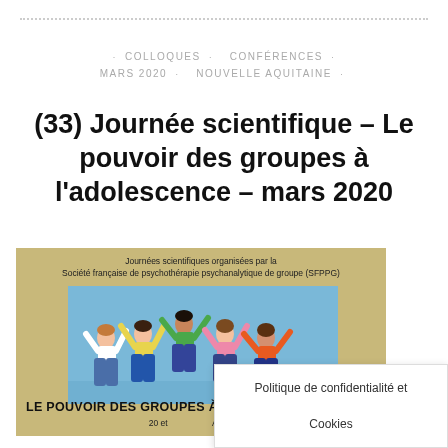· COLLOQUES · CONFÉRENCES · MARS 2020 · NOUVELLE AQUITAINE ·
(33) Journée scientifique – Le pouvoir des groupes à l'adolescence – mars 2020
[Figure (photo): Event flyer image showing children jumping joyfully against a blue sky, with text 'LE POUVOIR DES GROUPES À L'ADOLESCENC' and partial date/venue information. Organized by Société française de psychothérapie psychanalytique de groupe (SFPPG).]
Politique de confidentialité et Cookies